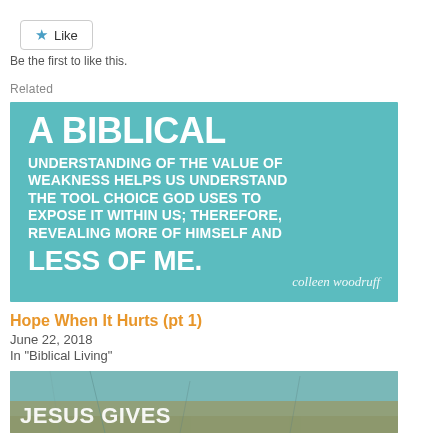★ Like
Be the first to like this.
Related
[Figure (illustration): Teal background image with bold white text reading: A BIBLICAL UNDERSTANDING OF THE VALUE OF WEAKNESS HELPS US UNDERSTAND THE TOOL CHOICE GOD USES TO EXPOSE IT WITHIN US; THEREFORE, REVEALING MORE OF HIMSELF AND LESS OF ME. with signature 'colleen woodruff']
Hope When It Hurts (pt 1)
June 22, 2018
In "Biblical Living"
[Figure (photo): Partially visible image with cracked blue/teal painted surface, with large white uppercase text at bottom reading 'JESUS GIVES' (partially cropped)]